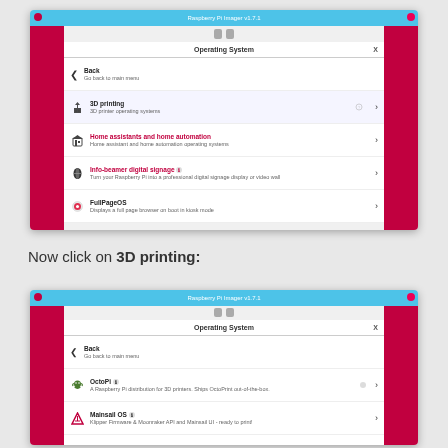[Figure (screenshot): Raspberry Pi Imager v1.7.1 window showing Operating System dialog with options: Back (Go back to main menu), 3D printing (3D printer operating systems), Home assistants and home automation, Info-beamer digital signage, FullPageOS]
Now click on 3D printing:
[Figure (screenshot): Raspberry Pi Imager v1.7.1 window showing Operating System dialog with 3D printing submenu: Back (Go back to main menu), OctoPi (A Raspberry Pi distribution for 3D printers. Ships OctoPrint out-of-the-box.), Mainsail OS (Klipper Firmware & Moonraker API and Mainsail UI - ready to print!), SimplyPi (Bring your 3D printer(s) with you anywhere with SimplyPrint on top of OctoPrint.)]